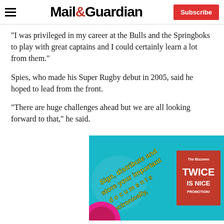Mail&Guardian | Subscribe
“I was privileged in my career at the Bulls and the Springboks to play with great captains and I could certainly learn a lot from them.”
Spies, who made his Super Rugby debut in 2005, said he hoped to lead from the front.
“There are huge challenges ahead but we are all looking forward to that,” he said.
[Figure (illustration): Bizzomn advertisement with teal background and yellow/white bold text reading 'Sign, distribute and store your important documents electronically,' with 'The Bizzomn TWICE IS NICE PROMOTION' in red and white on the right side, and a pink circular graphic at the bottom left.]